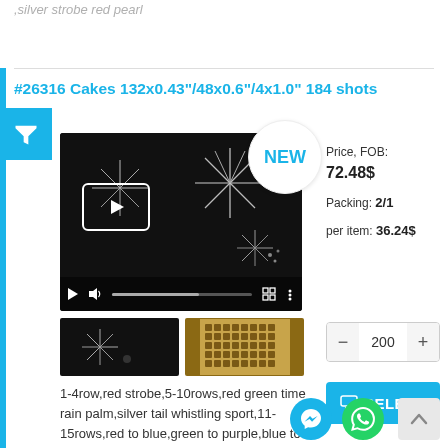,silver strobe red pearl
#26316 Cakes 132x0.43"/48x0.6"/4x1.0" 184 shots
[Figure (photo): Video player showing fireworks display on black background with play button overlay]
Price, FOB: 72.48$
Packing: 2/1
per item: 36.24$
[Figure (photo): Two thumbnail images: fireworks photo and product grid photo]
1-4row,red strobe,5-10rows,red green time rain palm,silver tail whistling sport,11-15rows,red to blue,green to purple,blue to red,purple to green,16row,blue tail brocade crown crackling.